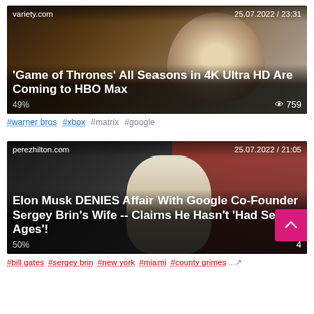[Figure (screenshot): News article card from variety.com showing Game of Thrones image with Daenerys Targaryen on a dragon. Header shows 'variety.com' and '25.07.2022 / 23:31'. Title: ''Game of Thrones' All Seasons in 4K Ultra HD Are Coming to HBO Max'. Stats: 49% and 759 views.]
#warner bros #xbox #matrix #google
[Figure (screenshot): News article card from perezhilton.com showing Elon Musk, Sergey Brin, and a woman in red dress. Header shows 'perezhilton.com' and '25.07.2022 / 21:05'. Title: 'Elon Musk DENIES Affair With Google Co-Founder Sergey Brin's Wife -- Claims He Hasn't 'Had Sex Ages'!'. Stats: 50%.]
#bill gates #sergey brin #new york #miami #county grimes...